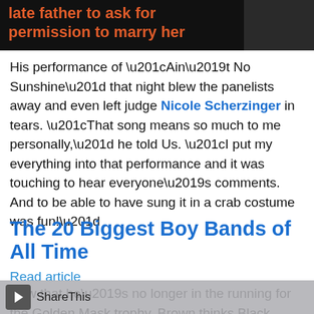[Figure (photo): Dark banner with red-orange bold text reading 'late father to ask for permission to marry her' and a dark image thumbnail on the right]
His performance of “Ain’t No Sunshine” that night blew the panelists away and even left judge Nicole Scherzinger in tears. “That song means so much to me personally,” he told Us. “I put my everything into that performance and it was touching to hear everyone’s comments. And to be able to have sung it in a crab costume was fun!”
The 20 Biggest Boy Bands of All Time
Read article
Now that he’s no longer in the running for the Golden Mask trophy, Brown thinks Black Swan and her “beautiful voice” have the best shot at winning. While he waits to find out who takes
ShareThis